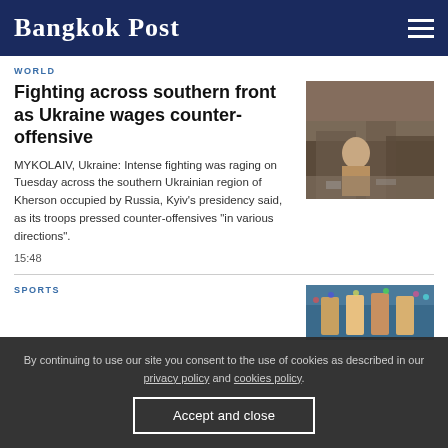Bangkok Post
WORLD
Fighting across southern front as Ukraine wages counter-offensive
MYKOLAIV, Ukraine: Intense fighting was raging on Tuesday across the southern Ukrainian region of Kherson occupied by Russia, Kyiv's presidency said, as its troops pressed counter-offensives "in various directions".
15:48
[Figure (photo): A person amid rubble and destruction from conflict]
SPORTS
[Figure (photo): Sports players on a field, crowd in background]
By continuing to use our site you consent to the use of cookies as described in our privacy policy and cookies policy.
Accept and close